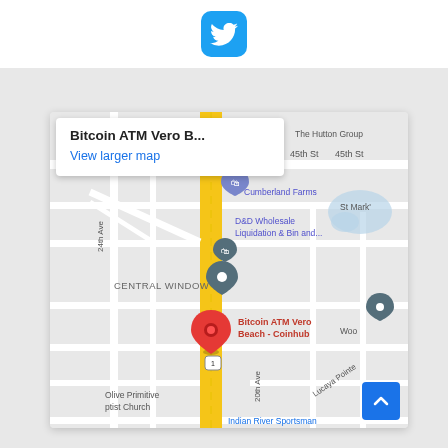[Figure (logo): Twitter bird logo icon, blue rounded square]
[Figure (map): Google Maps screenshot showing Bitcoin ATM Vero Beach - Coinhub location. Map shows streets including 24th Ave, 45th St, 20th Ave, Lucaya Pointe. Landmarks include Cumberland Farms, D&D Wholesale Liquidation & Bin and..., The Hutton Group, St Mark's, CENTRAL WINDOW, Olive Primitive Baptist Church, Indian River Sportsman, Wood. A red map pin marks Bitcoin ATM Vero Beach - Coinhub. A yellow road runs vertically (US-1). An info popup reads 'Bitcoin ATM Vero B...' and 'View larger map'. A blue scroll-to-top button appears bottom right.]